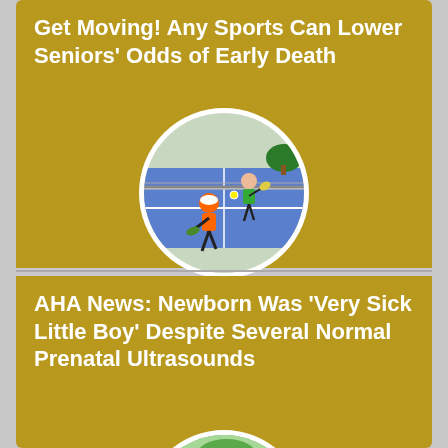Get Moving! Any Sports Can Lower Seniors' Odds of Early Death
[Figure (photo): Circular photo of two people playing pickleball on a blue court]
AHA News: Newborn Was 'Very Sick Little Boy' Despite Several Normal Prenatal Ultrasounds
[Figure (photo): Circular photo of a young toddler boy smiling outdoors]